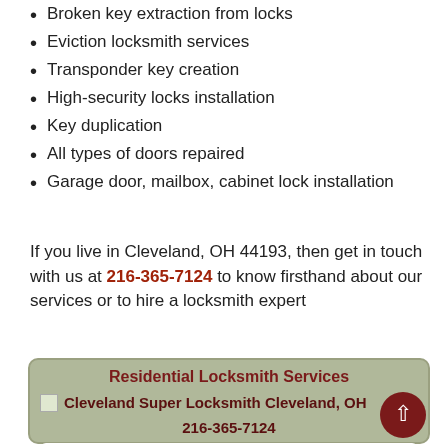Broken key extraction from locks
Eviction locksmith services
Transponder key creation
High-security locks installation
Key duplication
All types of doors repaired
Garage door, mailbox, cabinet lock installation
If you live in Cleveland, OH 44193, then get in touch with us at 216-365-7124 to know firsthand about our services or to hire a locksmith expert
Residential Locksmith Services
Cleveland Super Locksmith Cleveland, OH 216-365-7124
Cleveland Super Locksmith Cleveland, O 216-365-7124